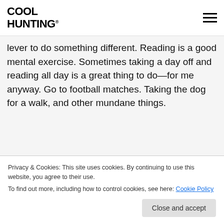COOL HUNTING®
lever to do something different. Reading is a good mental exercise. Sometimes taking a day off and reading all day is a great thing to do—for me anyway. Go to football matches. Taking the dog for a walk, and other mundane things.
You've collaborated with Third Drawer Down quite a lot,
Privacy & Cookies: This site uses cookies. By continuing to use this website, you agree to their use.
To find out more, including how to control cookies, see here: Cookie Policy
Close and accept